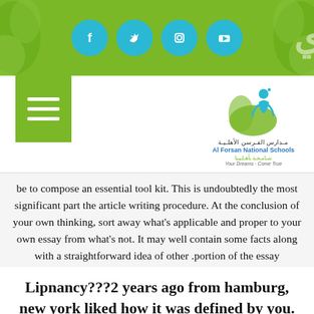[Figure (other): Green header bar with social media icons (Facebook, Twitter, Instagram, YouTube) and decorative green leaf elements on left and right]
[Figure (logo): Al Forsan National Schools logo with Arabic text, blue figure icon, and tagline 'Your Dreams Come True']
be to compose an essential tool kit. This is undoubtedly the most significant part the article writing procedure. At the conclusion of your own thinking, sort away what's applicable and proper to your own essay from what's not. It may well contain some facts along with a straightforward idea of other portion of the essay.
Lipnancy???2 years ago from hamburg, new york liked how it was defined by you.
The advent of an article is the level where the author